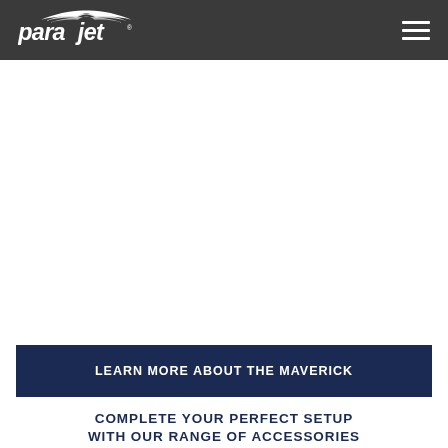Parajet
[Figure (logo): Parajet logo in white on dark grey navigation bar with hamburger menu icon on the right]
LEARN MORE ABOUT THE MAVERICK
COMPLETE YOUR PERFECT SETUP WITH OUR RANGE OF ACCESSORIES